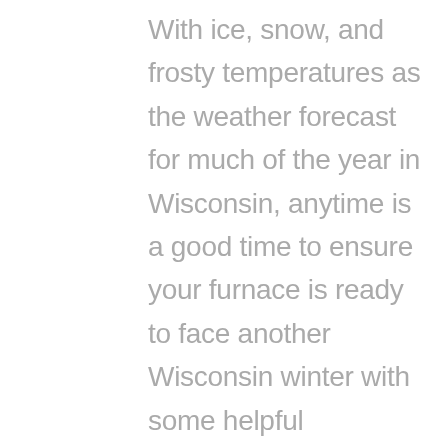With ice, snow, and frosty temperatures as the weather forecast for much of the year in Wisconsin, anytime is a good time to ensure your furnace is ready to face another Wisconsin winter with some helpful Milwaukee furnace maintenance tips. The first step in ensuring your furnace is operating efficiently and safely is a thorough furnace cleaning. Cleaning your furnace's blower, coils, and filter will provide the warm clean air your family deserves and improve your furnace's efficiency resulting in increased monthly energy savings.